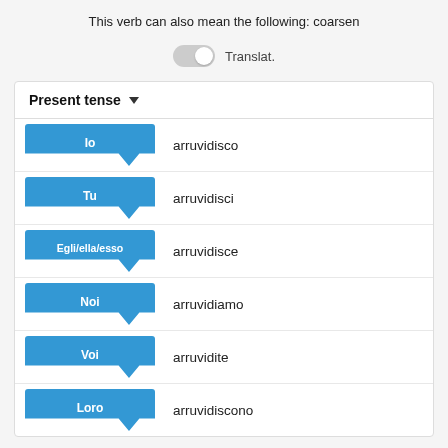This verb can also mean the following: coarsen
Translat.
| Pronoun | Verb Form |
| --- | --- |
| Io | arruvidisco |
| Tu | arruvidisci |
| Egli/ella/esso | arruvidisce |
| Noi | arruvidiamo |
| Voi | arruvidite |
| Loro | arruvidiscono |